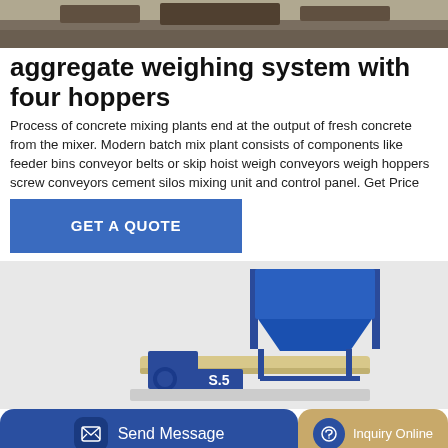[Figure (photo): Top portion of a photo showing construction equipment/machinery at a worksite, partially cropped.]
aggregate weighing system with four hoppers
Process of concrete mixing plants end at the output of fresh concrete from the mixer. Modern batch mix plant consists of components like feeder bins conveyor belts or skip hoist weigh conveyors weigh hoppers screw conveyors cement silos mixing unit and control panel. Get Price
GET A QUOTE
[Figure (photo): Photo of a blue industrial aggregate weighing system with hoppers and conveyor belt, showing the machine labeled 'S.5' on a light gray background.]
Send Message
Inquiry Online